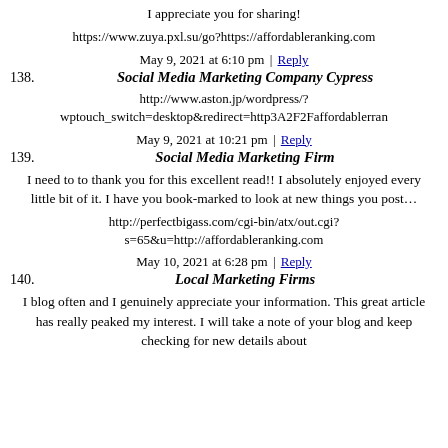I appreciate you for sharing!
https://www.zuya.pxl.su/go?https://affordableranking.com
May 9, 2021 at 6:10 pm | Reply
138. Social Media Marketing Company Cypress
http://www.aston.jp/wordpress/?wptouch_switch=desktop&redirect=http3A2F2Faffordablerrank
May 9, 2021 at 10:21 pm | Reply
139. Social Media Marketing Firm
I need to to thank you for this excellent read!! I absolutely enjoyed every little bit of it. I have you book-marked to look at new things you post…
http://perfectbigass.com/cgi-bin/atx/out.cgi?s=65&u=http://affordableranking.com
May 10, 2021 at 6:28 pm | Reply
140. Local Marketing Firms
I blog often and I genuinely appreciate your information. This great article has really peaked my interest. I will take a note of your blog and keep checking for new details about